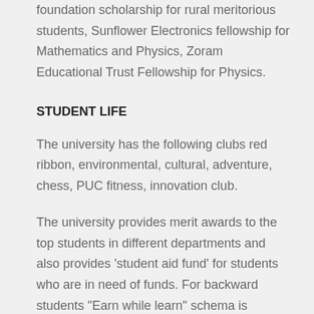foundation scholarship for rural meritorious students, Sunflower Electronics fellowship for Mathematics and Physics, Zoram Educational Trust Fellowship for Physics.
STUDENT LIFE
The university has the following clubs red ribbon, environmental, cultural, adventure, chess, PUC fitness, innovation club.
The university provides merit awards to the top students in different departments and also provides ‘student aid fund’ for students who are in need of funds. For backward students “Earn while learn” schema is introduced.